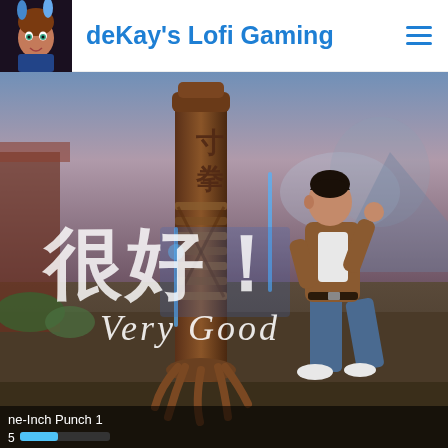deKay's Lofi Gaming
[Figure (screenshot): Screenshot from Shenmue III video game showing a character in a martial arts fighting stance next to a wooden training post (maki makiwara). Chinese characters '很好！' and English text 'Very Good' are displayed on screen. At the bottom, partial HUD text reads 'ne-Inch Punch 1' with a blue progress bar.]